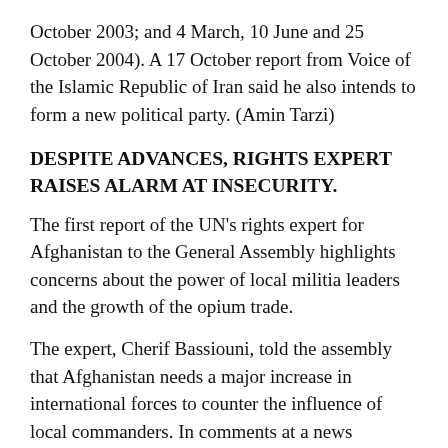October 2003; and 4 March, 10 June and 25 October 2004). A 17 October report from Voice of the Islamic Republic of Iran said he also intends to form a new political party. (Amin Tarzi)
DESPITE ADVANCES, RIGHTS EXPERT RAISES ALARM AT INSECURITY.
The first report of the UN's rights expert for Afghanistan to the General Assembly highlights concerns about the power of local militia leaders and the growth of the opium trade.
The expert, Cherif Bassiouni, told the assembly that Afghanistan needs a major increase in international forces to counter the influence of local commanders. In comments at a news conference on 28 October, he said warlords in some regions dominate all aspects of life. "It's more than just intimidation. [Local